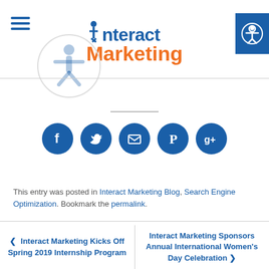[Figure (logo): Interact Marketing logo with blue 'Interact' text and orange 'Marketing' text, hamburger menu icon on left, accessibility button on right, person figure watermark]
[Figure (infographic): Row of 5 blue circular social media icons: Facebook, Twitter, Email, Pinterest, Google+]
This entry was posted in Interact Marketing Blog, Search Engine Optimization. Bookmark the permalink.
< Interact Marketing Kicks Off Spring 2019 Internship Program
Interact Marketing Sponsors Annual International Women's Day Celebration >